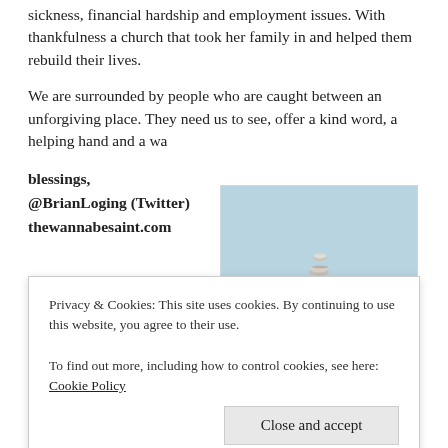sickness, financial hardship and employment issues. With thankfulness a church that took her family in and helped them rebuild their lives.
We are surrounded by people who are caught between an unforgiving place. They need us to see, offer a kind word, a helping hand and a wa
blessings,
@BrianLoging (Twitter)
thewannabesaint.com
[Figure (photo): Stacked zen stones (cairn) on a beach with blue sky background. TWS logo watermark in bottom right corner.]
Privacy & Cookies: This site uses cookies. By continuing to use this website, you agree to their use.
To find out more, including how to control cookies, see here: Cookie Policy
Close and accept
3 bloggers like this.